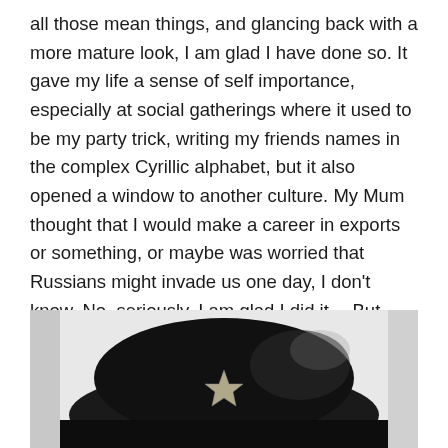all those mean things, and glancing back with a more mature look, I am glad I have done so. It gave my life a sense of self importance, especially at social gatherings where it used to be my party trick, writing my friends names in the complex Cyrillic alphabet, but it also opened a window to another culture. My Mum thought that I would make a career in exports or something, or maybe was worried that Russians might invade us one day, I don't know. No, seriously, I am glad I did it… But since I work now in the artisan food business, I really miss the fact that I didn't study Italian… Sorry comrades, but that is the truth.
[Figure (photo): Black and white close-up photograph of a dark Russian-style fur hat (ushanka or similar) with a small star emblem on the front, against a light background.]